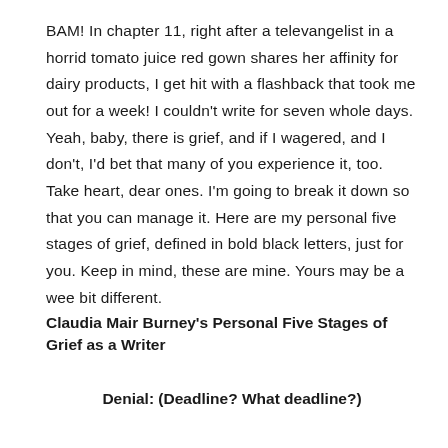BAM! In chapter 11, right after a televangelist in a horrid tomato juice red gown shares her affinity for dairy products, I get hit with a flashback that took me out for a week! I couldn't write for seven whole days. Yeah, baby, there is grief, and if I wagered, and I don't, I'd bet that many of you experience it, too. Take heart, dear ones. I'm going to break it down so that you can manage it. Here are my personal five stages of grief, defined in bold black letters, just for you. Keep in mind, these are mine. Yours may be a wee bit different.
Claudia Mair Burney's Personal Five Stages of Grief as a Writer
Denial: (Deadline? What deadline?)